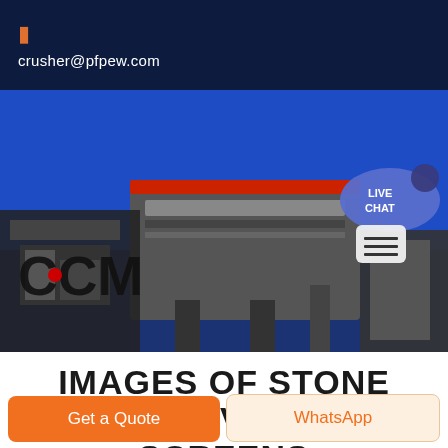crusher@pfpew.com
[Figure (photo): Industrial stone crusher / vibrating screen machinery photo with blue background, CCM logo visible on left side, live chat widget and hamburger menu on right]
IMAGES OF STONE CRUSHER VIBRATING SCREENS
Get a Quote
WhatsApp